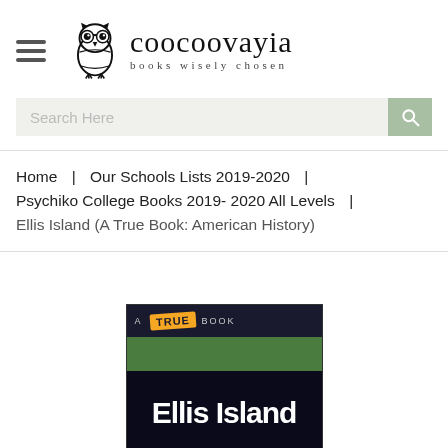[Figure (logo): Coocoovayia bookstore logo with an owl icon and tagline 'books wisely chosen']
Search Here
Home | Our Schools Lists 2019-2020 | Psychiko College Books 2019- 2020 All Levels | Ellis Island (A True Book: American History)
[Figure (photo): Book cover of 'Ellis Island (A True Book: American History)' showing a dark background with white bold text reading 'Ellis Island', a green top section, and a badge reading 'A TRUE BOOK']